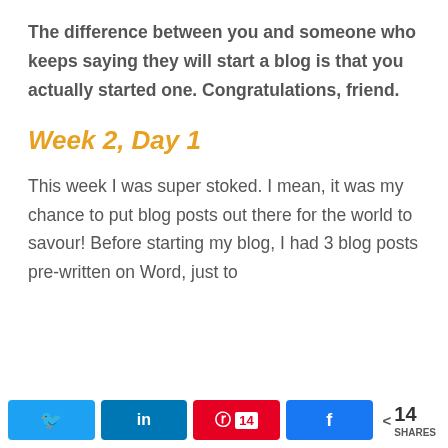The difference between you and someone who keeps saying they will start a blog is that you actually started one. Congratulations, friend.
Week 2, Day 1
This week I was super stoked. I mean, it was my chance to put blog posts out there for the world to savour! Before starting my blog, I had 3 blog posts pre-written on Word, just to
Twitter | LinkedIn | Pinterest 14 | Facebook | < 14 SHARES